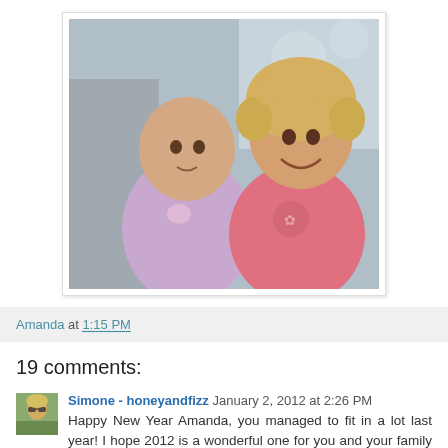[Figure (photo): Two young children sitting together. On the left is a newborn/very young baby wearing a lavender/purple onesie. On the right is a toddler with curly blonde hair wearing a pink top, smiling. Background shows a couch with patterned fabric.]
Amanda at 1:15 PM
19 comments:
[Figure (photo): Small avatar photo of a woman with blonde hair wearing sunglasses, outdoors.]
Simone - honeyandfizz January 2, 2012 at 2:26 PM
Happy New Year Amanda, you managed to fit in a lot last year! I hope 2012 is a wonderful one for you and your family xx